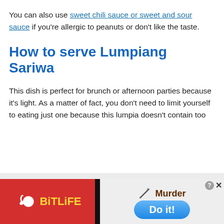You can also use sweet chili sauce or sweet and sour sauce if you're allergic to peanuts or don't like the taste.
How to serve Lumpiang Sariwa
This dish is perfect for brunch or afternoon parties because it's light. As a matter of fact, you don't need to limit yourself to eating just one because this lumpia doesn't contain too
[Figure (screenshot): Advertisement banner: left side red background with BitLife logo (white sperm-like icon and yellow bold text 'BitLiFE'), right side grey background showing a game ad with 'Murder' text and a knife icon, and a blue 'Do it!' rounded button. Close buttons in top-right corner.]